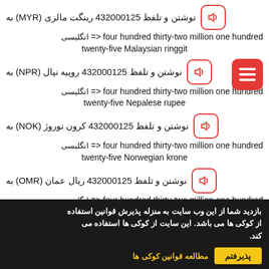نوشتن و تلفظ 432000125 رینگت مالزی (MYR) به
انگلیسی <= four hundred thirty-two million one hundred twenty-five Malaysian ringgit
نوشتن و تلفظ 432000125 روپیه نپال (NPR) به
انگلیسی <= four hundred thirty-two million one hundred twenty-five Nepalese rupee
نوشتن و تلفظ 432000125 کرون نوروژ (NOK) به
انگلیسی <= four hundred thirty-two million one hundred twenty-five Norwegian krone
نوشتن و تلفظ 432000125 ریال عمان (OMR) به
انگلیسی <= four hundred thirty-two million one hundred
بازدید شما از این وب سایت به منزله پذیرش قوانین استفاده از کوکی ها می باشد. این سایت از کوکی ها استفاده می کند.
مطالعه قوانین کوکی ها | پذیرفتم